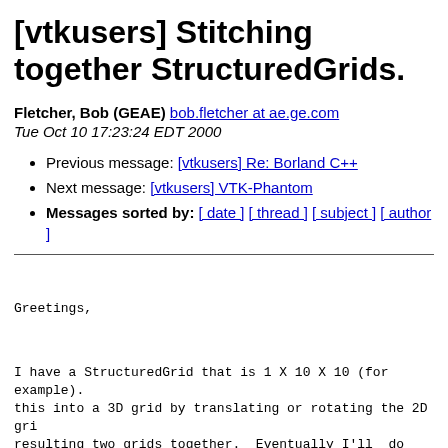[vtkusers] Stitching together StructuredGrids.
Fletcher, Bob (GEAE) bob.fletcher at ae.ge.com
Tue Oct 10 17:23:24 EDT 2000
Previous message: [vtkusers] Re: Borland C++
Next message: [vtkusers] VTK-Phantom
Messages sorted by: [ date ] [ thread ] [ subject ] [ author ]
Greetings,
I have a StructuredGrid that is 1 X 10 X 10 (for example). this into a 3D grid by translating or rotating the 2D gri resulting two grids together.  Eventually I'll  do this m up with a 10X10X10 (for example).
The problem is, once I copy and translate the grid, is th two vtkStructuredGrid's together to make a bigger grid.  that the number of  grid line matches correctly.)
It seems that this should be similar to stacking up medic Also, an extrusion filter seems relavent but only works c